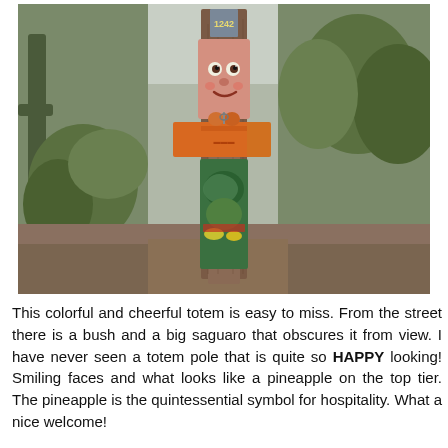[Figure (photo): A colorful, painted totem pole with a smiling face and what appears to be a pineapple on the top tier. The totem has vivid orange, green, yellow, and red painted decorations. It stands in a desert yard with trees, shrubs, a saguaro cactus, and dirt ground visible in the background. A number '1242' is visible near the top.]
This colorful and cheerful totem is easy to miss. From the street there is a bush and a big saguaro that obscures it from view. I have never seen a totem pole that is quite so HAPPY looking! Smiling faces and what looks like a pineapple on the top tier. The pineapple is the quintessential symbol for hospitality. What a nice welcome!